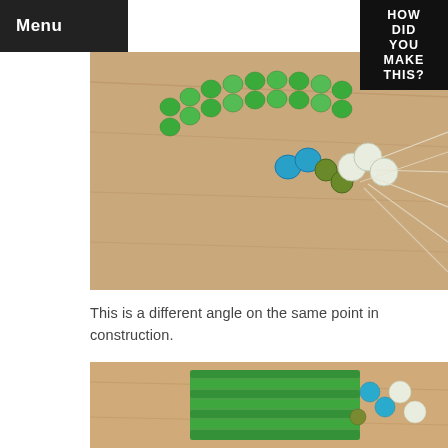Menu
HOW DID YOU MAKE THIS?
[Figure (photo): Close-up photo of a beaded bracelet in progress on a wooden surface. Green, blue, and white beads are threaded on wire/string, with multiple white threads fanning out from the beads on the right side.]
This is a different angle on the same point in construction.
[Figure (photo): Photo of a flat beaded piece on a wooden surface showing green beads woven together in a mat-like pattern, with turquoise and white beads visible at the right edge.]